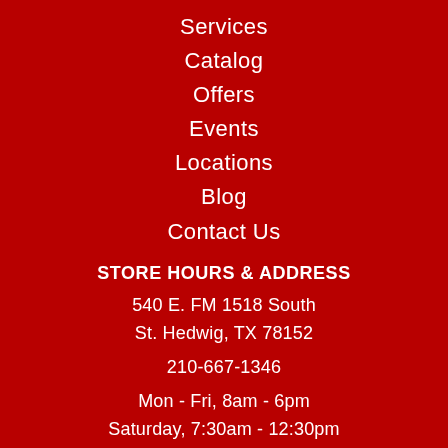Services
Catalog
Offers
Events
Locations
Blog
Contact Us
STORE HOURS & ADDRESS
540 E. FM 1518 South
St. Hedwig, TX 78152
210-667-1346
Mon - Fri, 8am - 6pm
Saturday, 7:30am - 12:30pm
Sunday, CLOSED